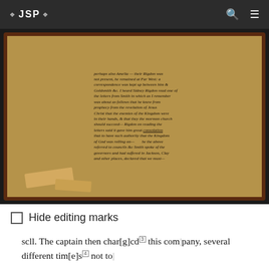JSP
[Figure (photo): Photograph of a handwritten historical document in cursive script, mounted in a dark wooden frame with a yellowed/aged paper background. The text is difficult to read but appears to be a 19th century letter discussing correspondence, Joseph Smith, Sidney Rigdon, and church matters.]
Hide editing marks
scll. The captain then char[g]cd this com|pany, several different tim[e]s not to